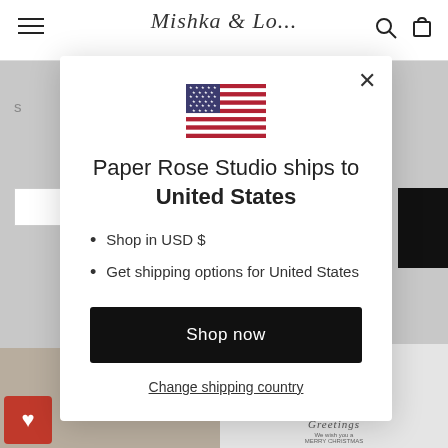[Figure (screenshot): Website background showing store header with hamburger menu, logo, search and cart icons, partial product listing, and thumbnail images at the bottom.]
[Figure (illustration): US flag icon displayed at top center of modal popup.]
Paper Rose Studio ships to United States
Shop in USD $
Get shipping options for United States
Shop now
Change shipping country